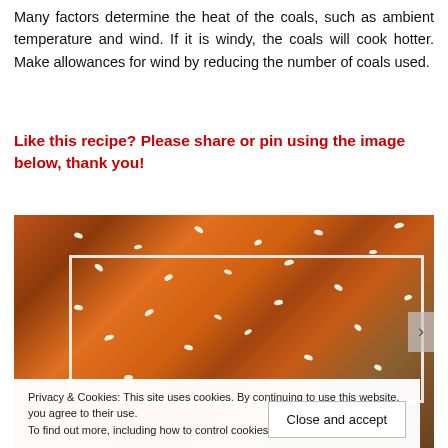Many factors determine the heat of the coals, such as ambient temperature and wind. If it is windy, the coals will cook hotter. Make allowances for wind by reducing the number of coals used.
Like this recipe? Please share or pin using the image below, thank you!
[Figure (photo): Close-up photo of cooked food (possibly chicken or ribs) with sesame seeds, showing orange-brown glazed meat pieces with a white inner frame overlay]
Privacy & Cookies: This site uses cookies. By continuing to use this website, you agree to their use.
To find out more, including how to control cookies, see here: Cookie Policy
Close and accept